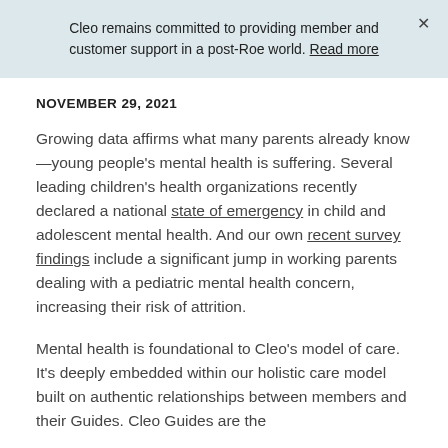Cleo remains committed to providing member and customer support in a post-Roe world. Read more
NOVEMBER 29, 2021
Growing data affirms what many parents already know—young people's mental health is suffering. Several leading children's health organizations recently declared a national state of emergency in child and adolescent mental health. And our own recent survey findings include a significant jump in working parents dealing with a pediatric mental health concern, increasing their risk of attrition.
Mental health is foundational to Cleo's model of care. It's deeply embedded within our holistic care model built on authentic relationships between members and their Guides. Cleo Guides are the